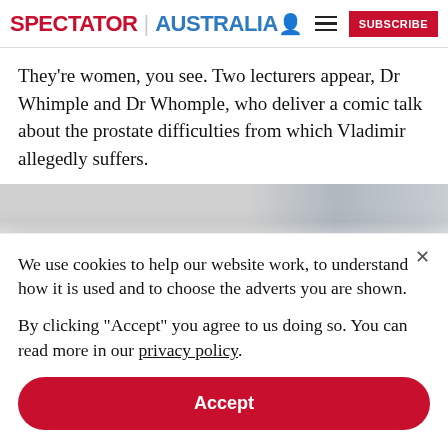SPECTATOR | AUSTRALIA
They're women, you see. Two lecturers appear, Dr Whimple and Dr Whomple, who deliver a comic talk about the prostate difficulties from which Vladimir allegedly suffers.
[Figure (photo): Partially visible image, cropped at bottom of article content area]
We use cookies to help our website work, to understand how it is used and to choose the adverts you are shown.

By clicking "Accept" you agree to us doing so. You can read more in our privacy policy.
Accept